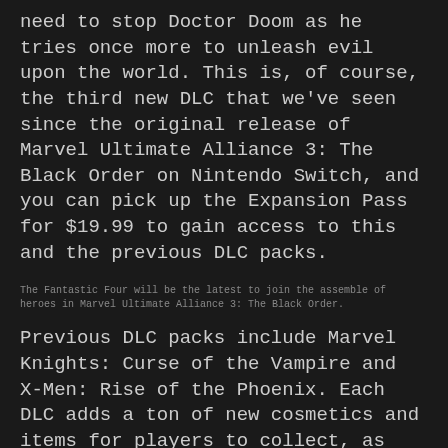need to stop Doctor Doom as he tries once more to unleash evil upon the world. This is, of course, the third new DLC that we've seen since the original release of Marvel Ultimate Alliance 3: The Black Order on Nintendo Switch, and you can pick up the Expansion Pass for $19.99 to gain access to this and the previous DLC packs.
The Fantastic Four will be the latest to join the assemble of heroes in Marvel Ultimate Alliance 3: The Black Order.
Previous DLC packs include Marvel Knights: Curse of the Vampire and X-Men: Rise of the Phoenix. Each DLC adds a ton of new cosmetics and items for players to collect, as well as new characters like Punisher, Blade, Moon Knight, Morbius, Phoenix, Gambit, Iceman, and Cable. There's really no reason not to pick up the Expansion